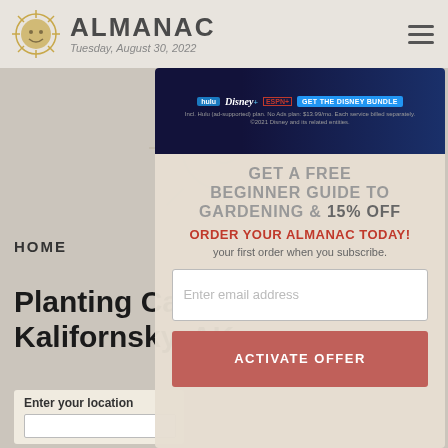ALMANAC — Tuesday, August 30, 2022
[Figure (screenshot): Disney Bundle advertisement banner with Hulu, Disney+, ESPN+ logos and 'GET THE DISNEY BUNDLE' button]
GET A FREE BEGINNER GUIDE TO GARDENING & 15% OFF
ORDER YOUR ALMANAC TODAY!
your first order when you subscribe.
HOME
Planting Calendar for Kalifornsky, AK
Enter your location